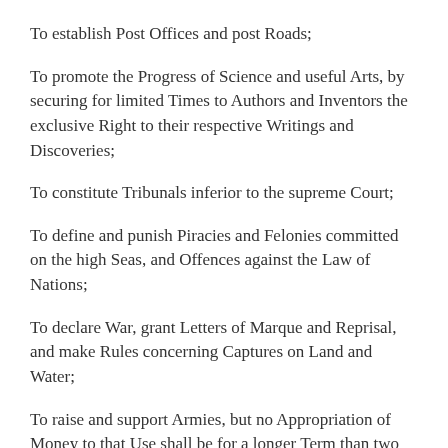To establish Post Offices and post Roads;
To promote the Progress of Science and useful Arts, by securing for limited Times to Authors and Inventors the exclusive Right to their respective Writings and Discoveries;
To constitute Tribunals inferior to the supreme Court;
To define and punish Piracies and Felonies committed on the high Seas, and Offences against the Law of Nations;
To declare War, grant Letters of Marque and Reprisal, and make Rules concerning Captures on Land and Water;
To raise and support Armies, but no Appropriation of Money to that Use shall be for a longer Term than two Years;
To provide and maintain a Navy;